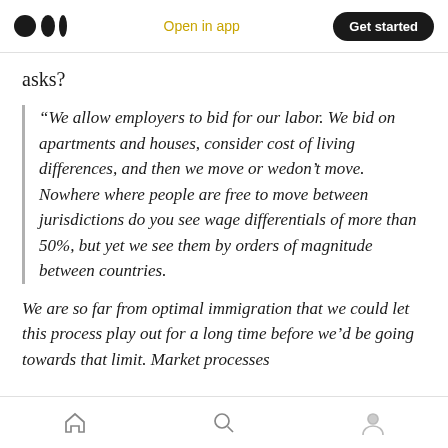Open in app | Get started
asks?
“We allow employers to bid for our labor. We bid on apartments and houses, consider cost of living differences, and then we move or wedon’t move. Nowhere where people are free to move between jurisdictions do you see wage differentials of more than 50%, but yet we see them by orders of magnitude between countries.
We are so far from optimal immigration that we could let this process play out for a long time before we’d be going towards that limit. Market processes
Home | Search | Profile